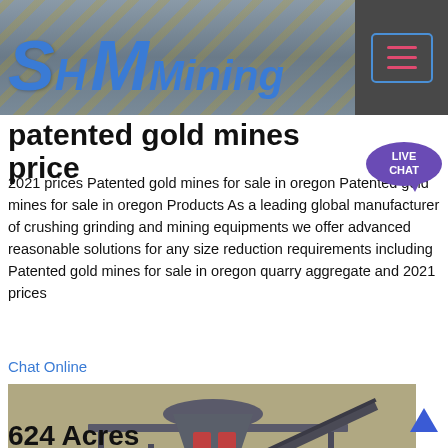[Figure (screenshot): SH Mining website header banner with logo showing 'SH MMining' in large blue italic letters on an industrial/construction site background. A hamburger menu button with pink lines appears on the right side in a dark grey box.]
patented gold mines price
2021 prices Patented gold mines for sale in oregon Patented gold mines for sale in oregon Products As a leading global manufacturer of crushing grinding and mining equipments we offer advanced reasonable solutions for any size reduction requirements including Patented gold mines for sale in oregon quarry aggregate and 2021 prices
Chat Online
[Figure (photo): Industrial mining/crushing machinery on a construction site. Large grey cone crusher on elevated steel frame platform with conveyor belt. Workers visible on site. Dirt ground with rubble.]
624 Acres